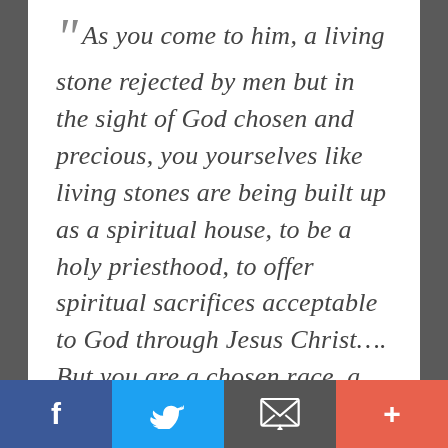“ As you come to him, a living stone rejected by men but in the sight of God chosen and precious, you yourselves like living stones are being built up as a spiritual house, to be a holy priesthood, to offer spiritual sacrifices acceptable to God through Jesus Christ.... But you are a chosen race, a royal priesthood, a holy nation, a people for his own possession, that you may proclaim the excellencies of him